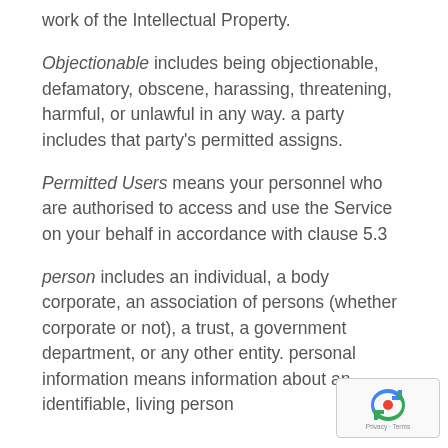work of the Intellectual Property.
Objectionable includes being objectionable, defamatory, obscene, harassing, threatening, harmful, or unlawful in any way. a party includes that party's permitted assigns.
Permitted Users means your personnel who are authorised to access and use the Service on your behalf in accordance with clause 5.3
person includes an individual, a body corporate, an association of persons (whether corporate or not), a trust, a government department, or any other entity. personal information means information about an identifiable, living person